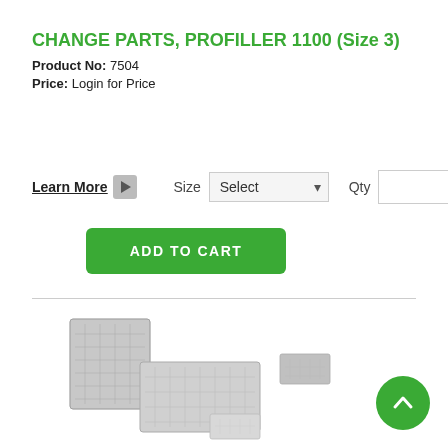CHANGE PARTS, PROFILLER 1100 (Size 3)
Product No: 7504
Price: Login for Price
Learn More  Size Select  Qty
ADD TO CART
[Figure (photo): Product photo showing change parts kit for Profiller 1100 Size 3 - multiple gray plastic trays and components]